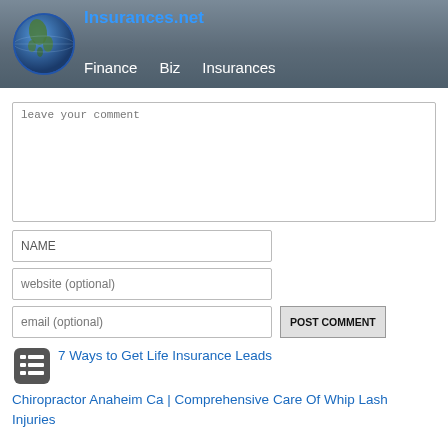Insurances.net  Finance  Biz  Insurances
leave your comment
NAME
website (optional)
email (optional)
POST COMMENT
7 Ways to Get Life Insurance Leads
Chiropractor Anaheim Ca | Comprehensive Care Of Whip Lash Injuries